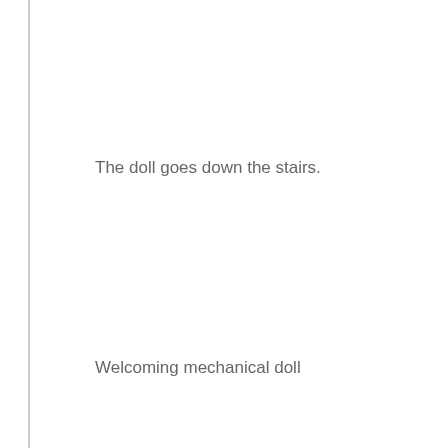The doll goes down the stairs.
Welcoming mechanical doll